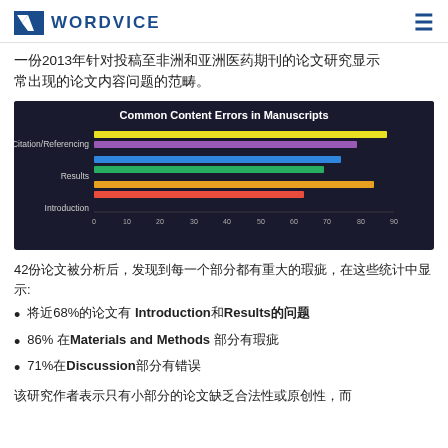WORDVICE
一份2013年针对投稿至非洲和亚洲医药期刊的论文研究显示常出现的论文内容问题的范畴。
[Figure (bar-chart): Common Content Errors in Manuscripts]
42份论文被分析后，发现到每一个部分都有重大的瑕疵，在这些统计中显示:
将近68%的论文有 Introduction和Results的问题
86% 在Materials and Methods 部分有瑕疵
71%在Discussion部分有错误
该研究作者表示只有小部分的论文缺乏合法性或原创性，而